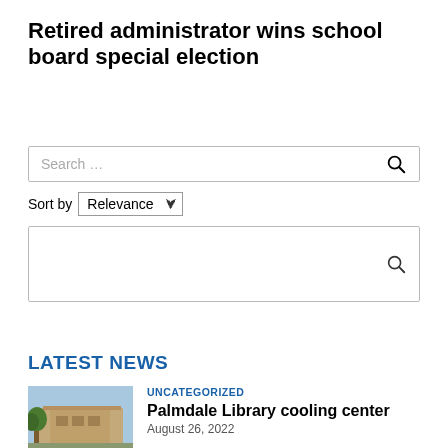Retired administrator wins school board special election
[Figure (screenshot): Search box with placeholder text 'Search ...' and a search icon on the right]
Sort by Relevance
[Figure (screenshot): Empty search box with search icon on the right]
LATEST NEWS
[Figure (photo): Thumbnail photo of a building (Palmdale Library) with a tree in the foreground]
UNCATEGORIZED
Palmdale Library cooling center
August 26, 2022